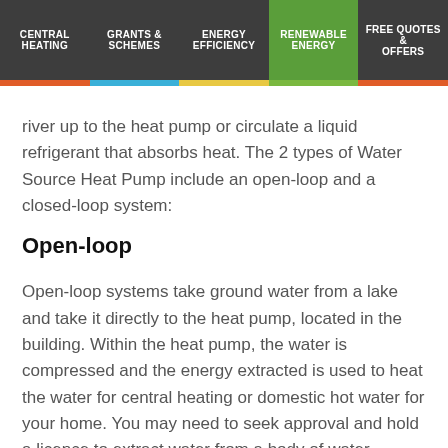CENTRAL HEATING | GRANTS & SCHEMES | ENERGY EFFICIENCY | RENEWABLE ENERGY | FREE QUOTES & OFFERS
river up to the heat pump or circulate a liquid refrigerant that absorbs heat. The 2 types of Water Source Heat Pump include an open-loop and a closed-loop system:
Open-loop
Open-loop systems take ground water from a lake and take it directly to the heat pump, located in the building. Within the heat pump, the water is compressed and the energy extracted is used to heat the water for central heating or domestic hot water for your home. You may need to seek approval and hold a licence to extract water from a body of water.
Closed-loop